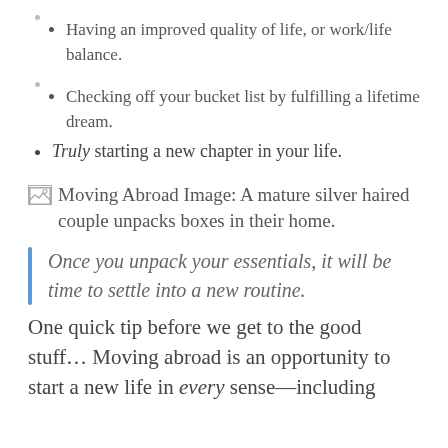Having an improved quality of life, or work/life balance.
Checking off your bucket list by fulfilling a lifetime dream.
Truly starting a new chapter in your life.
[Figure (photo): Moving Abroad Image: A mature silver haired couple unpacks boxes in their home.]
Once you unpack your essentials, it will be time to settle into a new routine.
One quick tip before we get to the good stuff… Moving abroad is an opportunity to start a new life in every sense—including